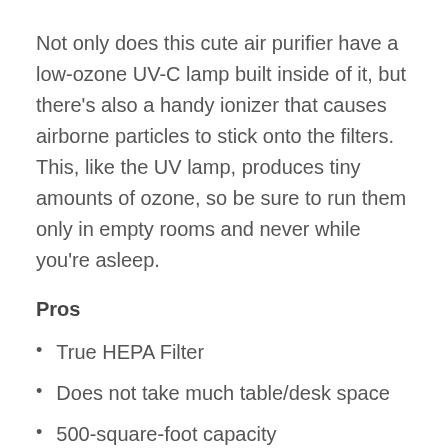Not only does this cute air purifier have a low-ozone UV-C lamp built inside of it, but there's also a handy ionizer that causes airborne particles to stick onto the filters. This, like the UV lamp, produces tiny amounts of ozone, so be sure to run them only in empty rooms and never while you're asleep.
Pros
True HEPA Filter
Does not take much table/desk space
500-square-foot capacity